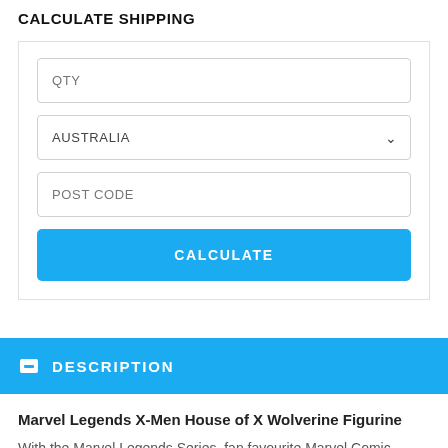CALCULATE SHIPPING
QTY
AUSTRALIA
POST CODE
CALCULATE
DESCRIPTION
Marvel Legends X-Men House of X Wolverine Figurine
With the Marvel Legends Series, fan favourite Marvel Comic Universe and Marvel Cinematic Universe characters are designed with premium detail and articulation for poseable